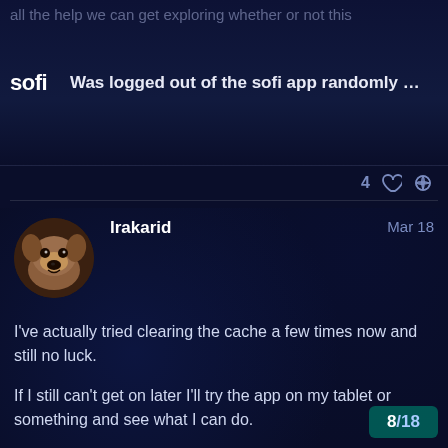all the help we can get exploring whether or not this
Was logged out of the sofi app randomly …
4 ♡ 🔗
Irakarid  Mar 18
[Figure (photo): Circular avatar photo of a brown dog looking at the camera]
I've actually tried clearing the cache a few times now and still no luck.

If I still can't get on later I'll try the app on my tablet or something and see what I can do.
8 / 18